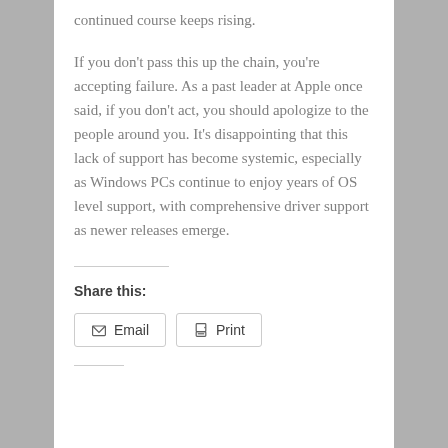continued course keeps rising.
If you don’t pass this up the chain, you’re accepting failure. As a past leader at Apple once said, if you don’t act, you should apologize to the people around you. It’s disappointing that this lack of support has become systemic, especially as Windows PCs continue to enjoy years of OS level support, with comprehensive driver support as newer releases emerge.
Share this:
Email
Print